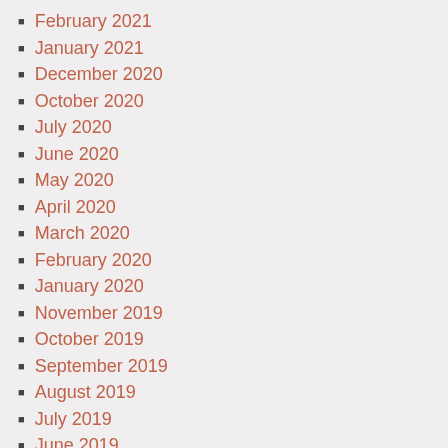February 2021
January 2021
December 2020
October 2020
July 2020
June 2020
May 2020
April 2020
March 2020
February 2020
January 2020
November 2019
October 2019
September 2019
August 2019
July 2019
June 2019